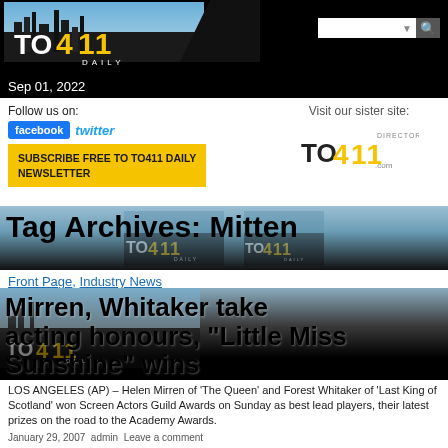TO411 DAILY — Sep 01, 2022
Follow us on:
facebook  twitter
SUBSCRIBE FREE TO TO411 DAILY NEWSLETTER
Visit our sister site:
[Figure (logo): TO411 Directory .com logo]
Tag Archives: Mitten
Front Page, Industry News
Mirren, Whitaker take acting honours, "Little Miss Sunshine" wins
LOS ANGELES (AP) – Helen Mirren of 'The Queen' and Forest Whitaker of 'Last King of Scotland' won Screen Actors Guild Awards on Sunday as best lead players, their latest prizes on the road to the Academy Awards.
January 29, 2007  admin  Leave a comment